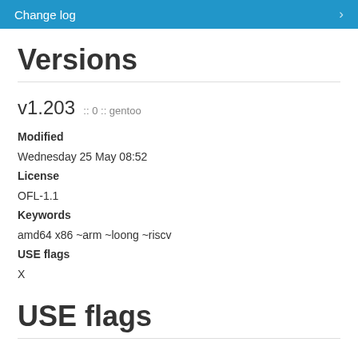Change log
Versions
v1.203 :: 0 :: gentoo
Modified
Wednesday 25 May 08:52
License
OFL-1.1
Keywords
amd64 x86 ~arm ~loong ~riscv
USE flags
X
USE flags